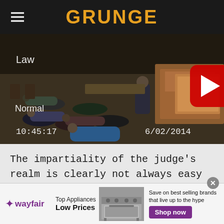GRUNGE
[Figure (screenshot): Security camera footage of a courtroom with people lying on the floor. Overlay text reads 'Law', 'Normal', timestamp '10:45:17' and date '6/02/2014'. A YouTube play button is overlaid in the center.]
The impartiality of the judge's realm is clearly not always easy to uphold. Judges are people, too, and people are fallible beings. Sometimes their sympathy or disgust is
[Figure (infographic): Wayfair advertisement banner. Shows Wayfair logo, text 'Top Appliances Low Prices', image of a range stove, and right side text 'Save on best selling brands that live up to the hype' with a purple 'Shop now' button. Close button (x) in top right.]